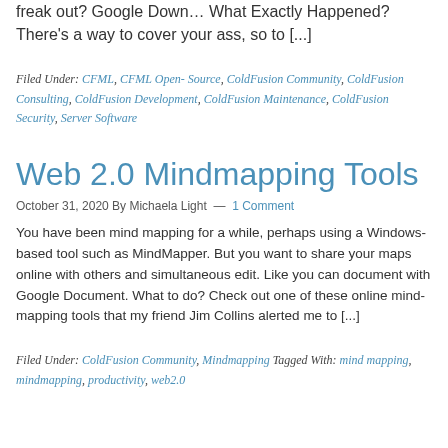freak out? Google Down… What Exactly Happened? There's a way to cover your ass, so to [...]
Filed Under: CFML, CFML Open- Source, ColdFusion Community, ColdFusion Consulting, ColdFusion Development, ColdFusion Maintenance, ColdFusion Security, Server Software
Web 2.0 Mindmapping Tools
October 31, 2020 By Michaela Light — 1 Comment
You have been mind mapping for a while, perhaps using a Windows-based tool such as MindMapper. But you want to share your maps online with others and simultaneous edit. Like you can document with Google Document. What to do? Check out one of these online mind-mapping tools that my friend Jim Collins alerted me to [...]
Filed Under: ColdFusion Community, Mindmapping Tagged With: mind mapping, mindmapping, productivity, web2.0